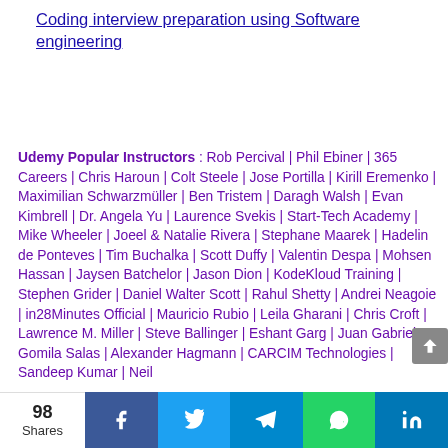Coding interview preparation using Software engineering
Udemy Popular Instructors : Rob Percival | Phil Ebiner | 365 Careers | Chris Haroun | Colt Steele | Jose Portilla | Kirill Eremenko | Maximilian Schwarzmüller | Ben Tristem | Daragh Walsh | Evan Kimbrell | Dr. Angela Yu | Laurence Svekis | Start-Tech Academy | Mike Wheeler | Joeel & Natalie Rivera | Stephane Maarek | Hadelin de Ponteves | Tim Buchalka | Scott Duffy | Valentin Despa | Mohsen Hassan | Jaysen Batchelor | Jason Dion | KodeKloud Training | Stephen Grider | Daniel Walter Scott | Rahul Shetty | Andrei Neagoie | in28Minutes Official | Mauricio Rubio | Leila Gharani | Chris Croft | Lawrence M. Miller | Steve Ballinger | Eshant Garg | Juan Gabriel Gomila Salas | Alexander Hagmann | CARCIM Technologies | Sandeep Kumar | Neil …
98 Shares